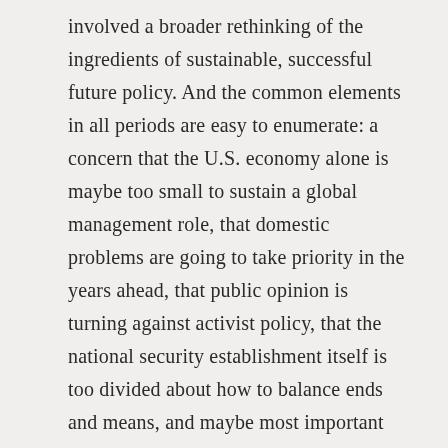involved a broader rethinking of the ingredients of sustainable, successful future policy. And the common elements in all periods are easy to enumerate: a concern that the U.S. economy alone is maybe too small to sustain a global management role, that domestic problems are going to take priority in the years ahead, that public opinion is turning against activist policy, that the national security establishment itself is too divided about how to balance ends and means, and maybe most important that new global problems are maybe not susceptible to U.S. solutions and leadership.

Second point: The policies that have accompanied this rethinking are also broadly similar in each